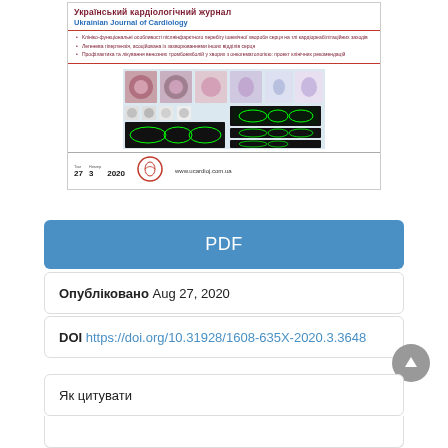[Figure (illustration): Ukrainian Journal of Cardiology cover showing journal title, table of contents items in Ukrainian, a composite medical image with histological sections and echocardiogram images, and volume/issue/year info (Tom 27, Nomer 3, 2020) with website www.ucardioj.com.ua]
PDF
Опубліковано Aug 27, 2020
DOI https://doi.org/10.31928/1608-635X-2020.3.3648
Як цитувати